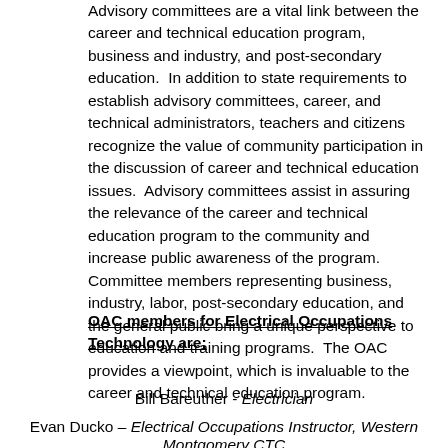Advisory committees are a vital link between the career and technical education program, business and industry, and post-secondary education. In addition to state requirements to establish advisory committees, career, and technical administrators, teachers and citizens recognize the value of community participation in the discussion of career and technical education issues. Advisory committees assist in assuring the relevance of the career and technical education program to the community and increase public awareness of the program. Committee members representing business, industry, labor, post-secondary education, and the general public bring a unique perspective to education and training programs. The OAC provides a viewpoint, which is invaluable to the career and technical education program.
OAC members for Electrical Occupations Technology are:
Bill Bareuther - Electrician
Evan Ducko – Electrical Occupations Instructor, Western Montgomery CTC